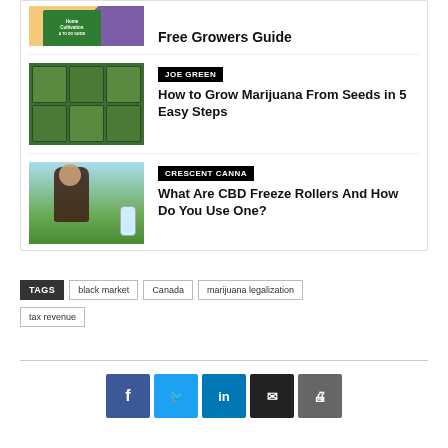[Figure (illustration): Partial view of a book/guide with orange and purple background - Free Growers Guide]
Free Growers Guide
[Figure (photo): Mason jars filled with marijuana/cannabis]
JOE GREEN
How to Grow Marijuana From Seeds in 5 Easy Steps
[Figure (photo): Woman holding a CBD freeze roller product outdoors]
CRESCENT CANNA
What Are CBD Freeze Rollers And How Do You Use One?
TAGS
black market
Canada
marijuana legalization
tax revenue